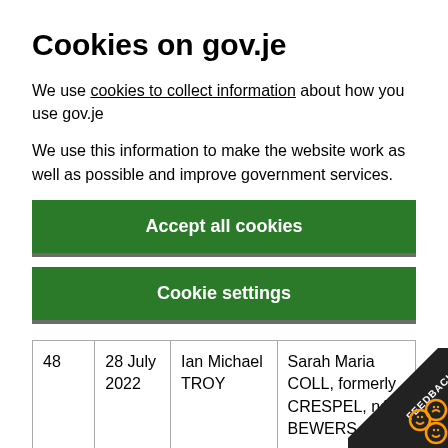Cookies on gov.je
We use cookies to collect information about how you use gov.je
We use this information to make the website work as well as possible and improve government services.
Accept all cookies
Cookie settings
|  |  |  |  |
| --- | --- | --- | --- |
| 48 | 28 July 2022 | Ian Michael TROY | Sarah Maria COLL, formerly CRESPEL, née BEWERS |